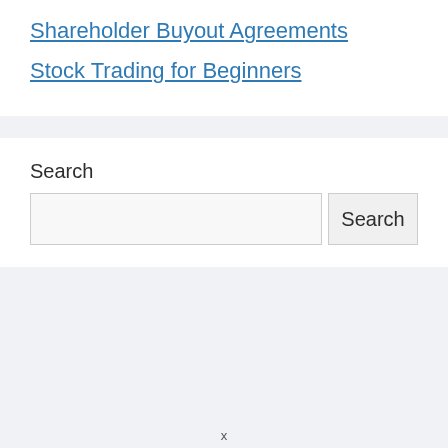Shareholder Buyout Agreements
Stock Trading for Beginners
Search
Search (button)